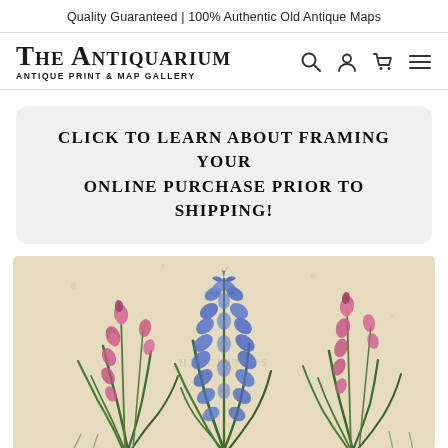Quality Guaranteed | 100% Authentic Old Antique Maps
The Antiquarium
ANTIQUE PRINT & MAP GALLERY
Click to learn about framing your online purchase prior to shipping!
[Figure (illustration): Botanical illustration showing three flowering plants: pink bell-shaped flowers on the left and right, and tall blue hyacinth-like flowers in the center, all with long green leaves, painted on aged parchment-colored background.]